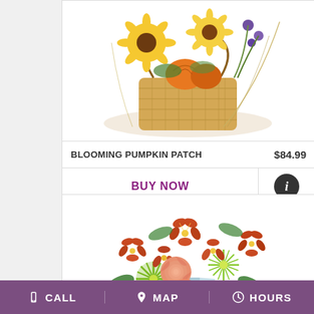[Figure (photo): Cropped photo of a floral arrangement called Blooming Pumpkin Patch, showing sunflowers, pumpkins, and dried grasses in a wicker basket, white background]
BLOOMING PUMPKIN PATCH    $84.99
BUY NOW
[Figure (photo): Photo of an autumn flower bouquet with orange/red alstroemeria, peach roses, and green spider chrysanthemums in a glass vase, white background]
CALL   MAP   HOURS